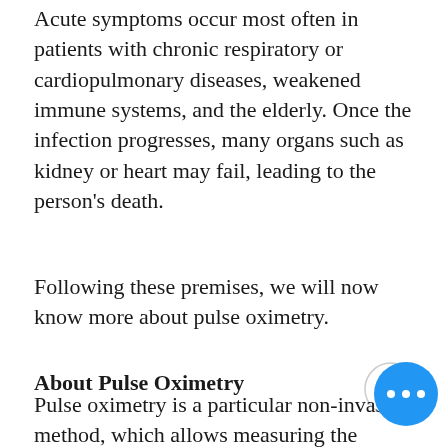Acute symptoms occur most often in patients with chronic respiratory or cardiopulmonary diseases, weakened immune systems, and the elderly. Once the infection progresses, many organs such as kidney or heart may fail, leading to the person's death.
Following these premises, we will now know more about pulse oximetry.
About Pulse Oximetry
Pulse oximetry is a particular non-invasive method, which allows measuring the oxygen saturation in the patient's blood. More